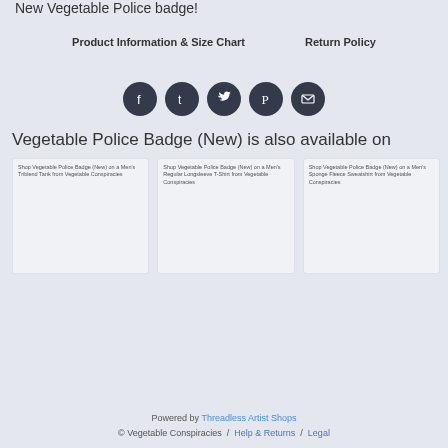New Vegetable Police badge!
Product Information & Size Chart    Return Policy
[Figure (other): Social media share icons: Facebook, Tumblr, Twitter, Pinterest, Email — dark circle buttons]
Vegetable Police Badge (New) is also available on
[Figure (other): Three product card images: Shop Vegetable Police Badge (New) on a Men's Triblend Tank from Vegetable Conspiracies; Shop Vegetable Police Badge (New) on a Men's Regular Longsleeve T-Shirt from Vegetable Conspiracies; Shop Vegetable Police Badge (New) on a Men's Sponge Fleece Sweatshirt from Vegetable Conspiracies]
Powered by Threadless Artist Shops
© Vegetable Conspiracies / Help & Returns / Legal